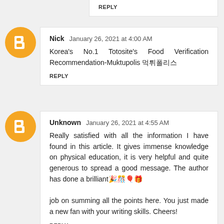REPLY
Nick  January 26, 2021 at 4:00 AM
Korea's No.1 Totosite's Food Verification Recommendation-Muktupolis 먹튀폴리스
REPLY
Unknown  January 26, 2021 at 4:55 AM
Really satisfied with all the information I have found in this article. It gives immense knowledge on physical education, it is very helpful and quite generous to spread a good message. The author has done a brilliant🎉🎊🎈🎁 job on summing all the points here. You just made a new fan with your writing skills. Cheers!
REPLY